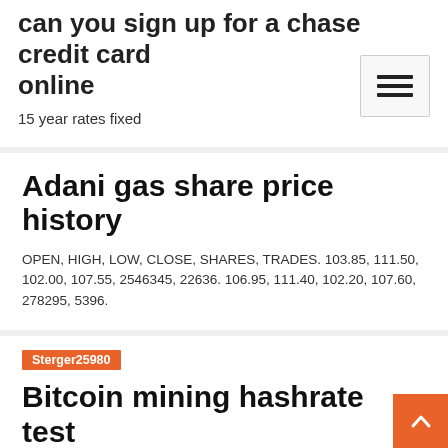can you sign up for a chase credit card online
15 year rates fixed
Adani gas share price history
OPEN, HIGH, LOW, CLOSE, SHARES, TRADES. 103.85, 111.50, 102.00, 107.55, 2546345, 22636. 106.95, 111.40, 102.20, 107.60, 278295, 5396.
Sterger25980
Bitcoin mining hashrate test